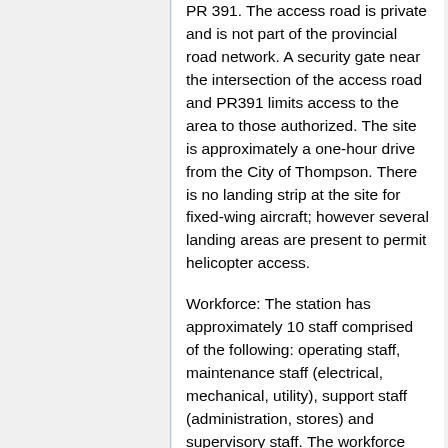PR 391. The access road is private and is not part of the provincial road network. A security gate near the intersection of the access road and PR391 limits access to the area to those authorized. The site is approximately a one-hour drive from the City of Thompson. There is no landing strip at the site for fixed-wing aircraft; however several landing areas are present to permit helicopter access.
Workforce: The station has approximately 10 staff comprised of the following: operating staff, maintenance staff (electrical, mechanical, utility), support staff (administration, stores) and supervisory staff. The workforce arrive at the Wuskwatim GS from various locations within the province. The workforce is split into two shifts who